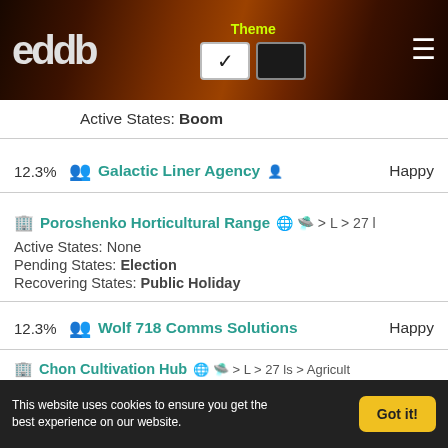eddb — Theme toggle header with nebula background
Active States: Boom
12.3%  Galactic Liner Agency  Happy
Poroshenko Horticultural Range > L > 27 l
Active States: None
Pending States: Election
Recovering States: Public Holiday
12.3%  Wolf 718 Comms Solutions  Happy
Chon Cultivation Hub > L > 27 ls > Agricult
Cloutier Hydroponics Market > L > 27 ls >
This website uses cookies to ensure you get the best experience on our website.  Got it!